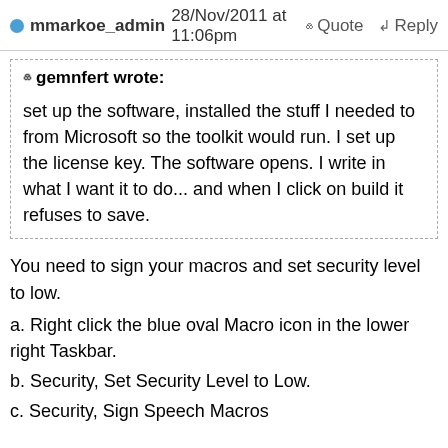mmarkoe_admin 28/Nov/2011 at 11:06pm   Quote  Reply
gemnfert wrote:

set up the software, installed the stuff I needed to from Microsoft so the toolkit would run. I set up the license key. The software opens. I write in what I want it to do... and when I click on build it refuses to save.
You need to sign your macros and set security level to low.
a. Right click the blue oval Macro icon in the lower right Taskbar.
b. Security, Set Security Level to Low.
c. Security, Sign Speech Macros